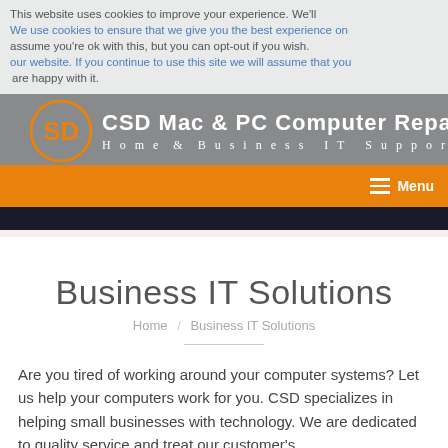CSD Mac & PC Computer Repair — Home & Business IT Support
This website uses cookies to improve your experience. We'll assume you're ok with this, but you can opt-out if you wish. We use cookies to ensure that we give you the best experience on our website. If you continue to use this site we will assume that you are happy with it.
Business IT Solutions
Home / Business IT Solutions
Are you tired of working around your computer systems? Let us help your computers work for you. CSD specializes in helping small businesses with technology. We are dedicated to quality service and treat our customer's